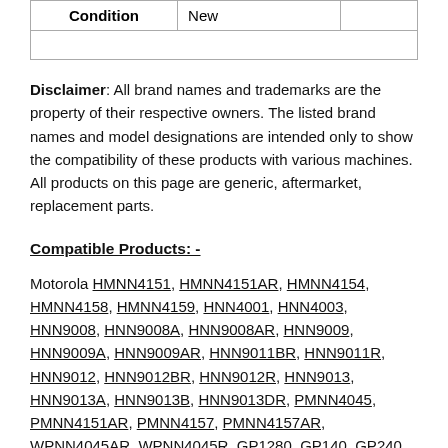| Condition | New |  |
| --- | --- | --- |
|  |  |  |
Disclaimer: All brand names and trademarks are the property of their respective owners. The listed brand names and model designations are intended only to show the compatibility of these products with various machines. All products on this page are generic, aftermarket, replacement parts.
Compatible Products: -
Motorola HMNN4151, HMNN4151AR, HMNN4154, HMNN4158, HMNN4159, HNN4001, HNN4003, HNN9008, HNN9008A, HNN9008AR, HNN9009, HNN9009A, HNN9009AR, HNN9011BR, HNN9011R, HNN9012, HNN9012BR, HNN9012R, HNN9013, HNN9013A, HNN9013B, HNN9013DR, PMNN4045, PMNN4151AR, PMNN4157, PMNN4157AR, WPNN4045AR, WPNN4045R, GP1280, GP140, GP240,